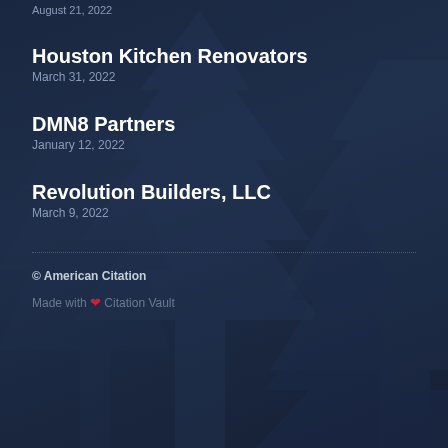August 21, 2022
Houston Kitchen Renovators
March 31, 2022
DMN8 Partners
January 12, 2022
Revolution Builders, LLC
March 9, 2022
© American Citation
Made with ❤ Citation Vault